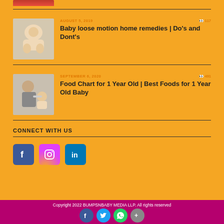[Figure (photo): Partial baby image at top (cropped)]
[Figure (photo): Baby lying down, loose motion home remedies article thumbnail]
AUGUST 5, 2019
117
Baby loose motion home remedies | Do's and Dont's
[Figure (photo): Adult feeding baby, food chart article thumbnail]
SEPTEMBER 6, 2020
491
Food Chart for 1 Year Old | Best Foods for 1 Year Old Baby
CONNECT WITH US
[Figure (logo): Facebook social media icon]
[Figure (logo): Instagram social media icon]
[Figure (logo): LinkedIn social media icon]
Copyright 2022 BUMPSNBABY MEDIA LLP. All rights reserved